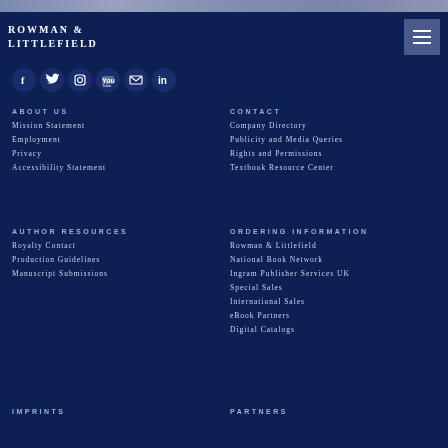[Figure (screenshot): Top image strip with book cover thumbnails]
ROWMAN & LITTLEFIELD
[Figure (infographic): Social media icons row: Facebook, Twitter, Instagram, YouTube, Email, LinkedIn]
ABOUT US
Mission Statement
Employment
Privacy
Accessibility Statement
CONTACT
Company Directory
Publicity and Media Queries
Rights and Permissions
Textbook Resource Center
AUTHOR RESOURCES
Royalty Contact
Production Guidelines
Manuscript Submissions
ORDERING INFORMATION
Rowman & Littlefield
National Book Network
Ingram Publisher Services UK
Special Sales
International Sales
eBook Partners
Digital Catalogs
IMPRINTS
PARTNERS